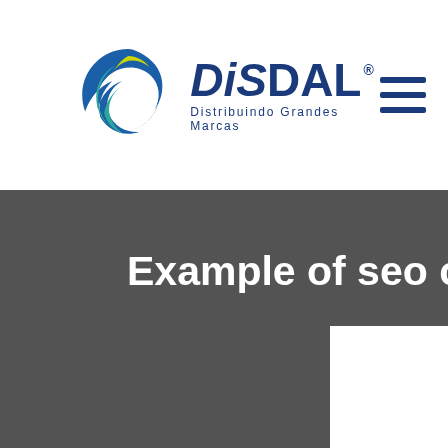[Figure (logo): DiSDAL logo with circular swirl icon in green, yellow, and teal colors, with text DiSDAL and tagline Distribuindo Grandes Marcas in dark blue]
[Figure (other): Hamburger menu icon with three horizontal dark blue lines]
Example of seo content writing